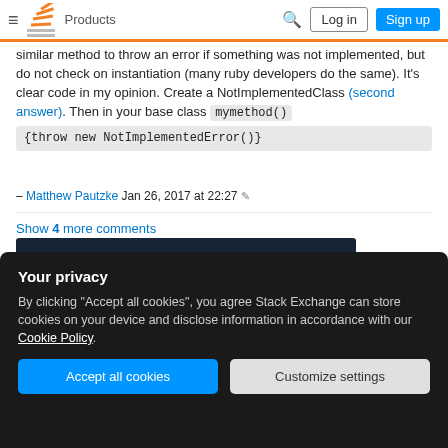Stack Overflow navigation: hamburger menu, logo, Products, search, Log in, Sign up
similar method to throw an error if something was not implemented, but do not check on instantiation (many ruby developers do the same). It's clear code in my opinion. Create a NotImplementedClass (second answer). Then in your base class mymethod() {throw new NotImplementedError()}
– Matthew Pautzke Jan 26, 2017 at 22:27
Show 4 more comments
[Figure (screenshot): AWS advertisement banner with dark background showing the AWS logo (orange letters 'aws' with smile arrow) and a terminal/CLI icon]
Your privacy
By clicking "Accept all cookies", you agree Stack Exchange can store cookies on your device and disclose information in accordance with our Cookie Policy.
Accept all cookies  Customize settings